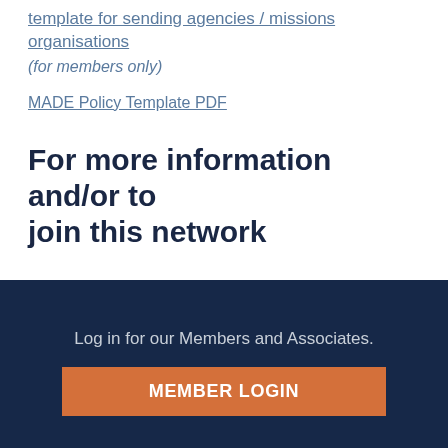template for sending agencies / missions organisations
(for members only)
MADE Policy Template PDF
For more information and/or to join this network
Click to contact MADE network.
Log in for our Members and Associates.
MEMBER LOGIN